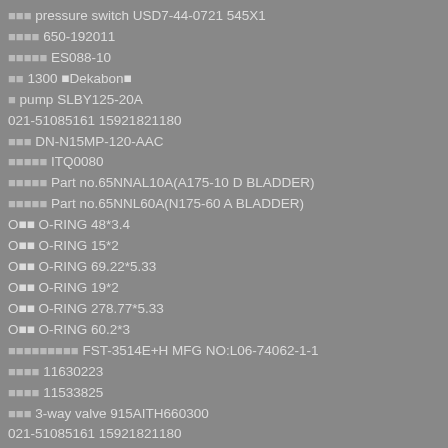[chars] pressure switch USD7-44-0721 545X1
[chars] 650-192011
[chars] ES088-10
[chars] 1300 [Dekabon]
[char] pump SLBY125-20A
021-51085161 15921821180
[chars] DN-N15MP-120-AAC
[chars] ITQ0080
[chars] Part no.65NNAL10A(A175-10 D BLADDER)
[chars] Part no.65NNL60A(N175-60 A BLADDER)
O[chars] O-RING 48*3.4
O[chars] O-RING 15*2
O[chars] O-RING 69.22*5.33
O[chars] O-RING 19*2
O[chars] O-RING 278.77*5.33
O[chars] O-RING 60.2*3
[chars] FST-3514E+H MFG NO:L06-74062-1-1
[chars] 11630223
[chars] 11533825
[chars] 3-way valve 915AITH660300
021-51085161 15921821180
[chars] DOS-1204-W